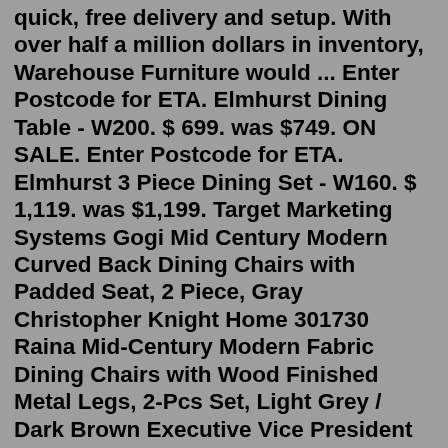quick, free delivery and setup. With over half a million dollars in inventory, Warehouse Furniture would ... Enter Postcode for ETA. Elmhurst Dining Table - W200. $ 699. was $749. ON SALE. Enter Postcode for ETA. Elmhurst 3 Piece Dining Set - W160. $ 1,119. was $1,199. Target Marketing Systems Gogi Mid Century Modern Curved Back Dining Chairs with Padded Seat, 2 Piece, Gray Christopher Knight Home 301730 Raina Mid-Century Modern Fabric Dining Chairs with Wood Finished Metal Legs, 2-Pcs Set, Light Grey / Dark Brown Executive Vice President and General Counsel. Matt Zabel is executive vice president and general counsel for Target and a member of its leadership team... read more. * Denotes an Executive Officer subject to Section 16 of the Securities Exchange Act of 1934. Target. 10. Glam Aluminum Console Table. Best Console. An affordable console table that'll give Jonathan Adler a run for his money. With its splayed legs, polished gold finish and carved sunburst pattern top, this piece totally reminds us of the designer's